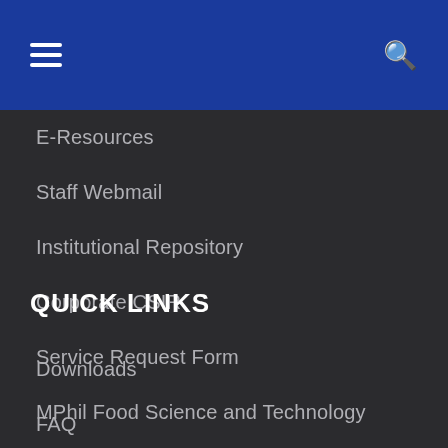E-Resources
Staff Webmail
Institutional Repository
Corporate CSIR
Service Request Form
MPhil Food Science and Technology
QUICK LINKS
Downloads
FAQ
Blog